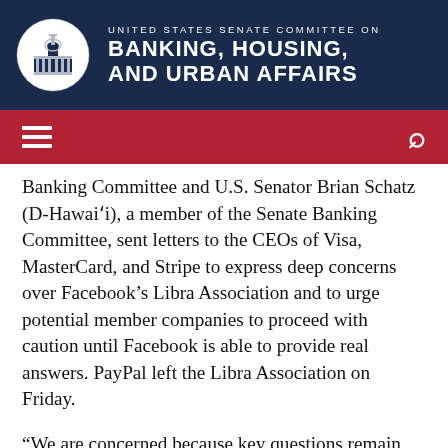UNITED STATES SENATE COMMITTEE ON BANKING, HOUSING, AND URBAN AFFAIRS
Banking Committee and U.S. Senator Brian Schatz (D-Hawaiʻi), a member of the Senate Banking Committee, sent letters to the CEOs of Visa, MasterCard, and Stripe to express deep concerns over Facebook’s Libra Association and to urge potential member companies to proceed with caution until Facebook is able to provide real answers. PayPal left the Libra Association on Friday.
“We are concerned because key questions remain unanswered about the risks the project poses to consumers, regulated financial institutions, and